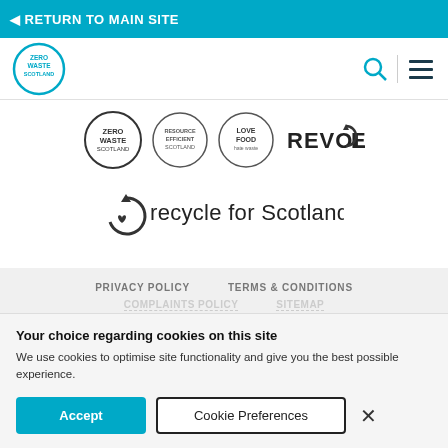◄ RETURN TO MAIN SITE
[Figure (logo): Zero Waste Scotland circular logo in teal, plus search icon and hamburger menu icon]
[Figure (logo): Four brand logos in a row: Zero Waste Scotland (circle), Resource Efficient Scotland (circle), Love Food Hate Waste (circle), REVOLVE (text with checkmark)]
[Figure (logo): Recycle for Scotland logo with circular arrow and text 'recycle for Scotland']
PRIVACY POLICY    TERMS & CONDITIONS
Your choice regarding cookies on this site
We use cookies to optimise site functionality and give you the best possible experience.
Accept
Cookie Preferences